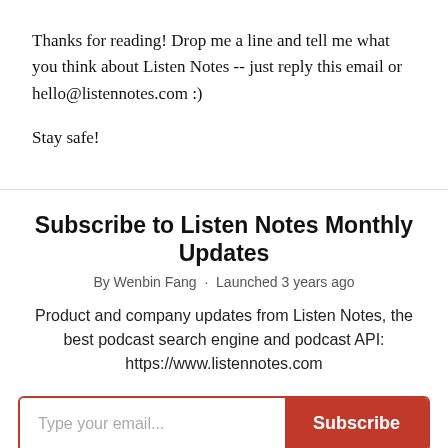Thanks for reading! Drop me a line and tell me what you think about Listen Notes -- just reply this email or hello@listennotes.com :)
Stay safe!
Subscribe to Listen Notes Monthly Updates
By Wenbin Fang · Launched 3 years ago
Product and company updates from Listen Notes, the best podcast search engine and podcast API: https://www.listennotes.com